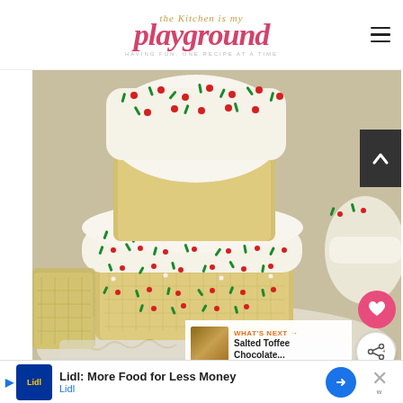The Kitchen is my playground — HAVING FUN, ONE RECIPE AT A TIME
[Figure (photo): Close-up photo of white chocolate-dipped rice crispy treats topped with red and green Christmas sprinkles, stacked on top of each other on a metal tray]
Christmas White Chocolate Dipped Ri...
WHAT'S NEXT → Salted Toffee Chocolate...
Lidl: More Food for Less Money — Lidl